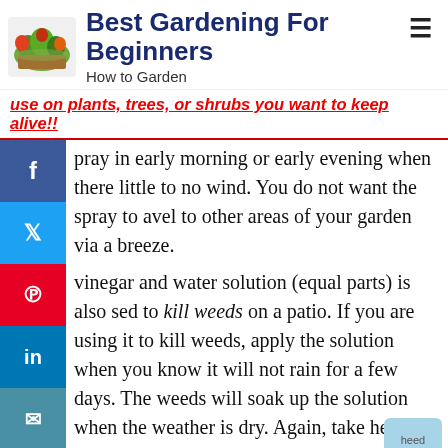Best Gardening For Beginners — How to Garden
use on plants, trees, or shrubs you want to keep alive!!
pray in early morning or early evening when there little to no wind. You do not want the spray to avel to other areas of your garden via a breeze.
vinegar and water solution (equal parts) is also sed to kill weeds on a patio. If you are using it to kill weeds, apply the solution when you know it will not rain for a few days. The weeds will soak up the solution when the weather is dry. Again, take heed to the warning above when using a spray solution with vinegar.